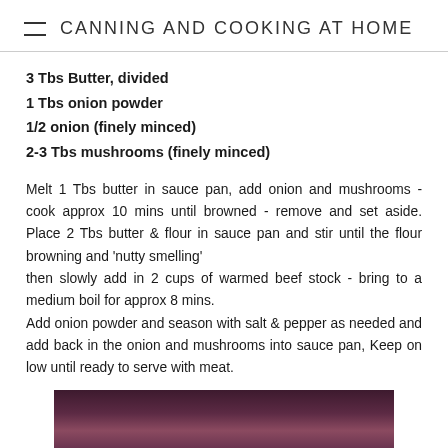CANNING AND COOKING AT HOME
3 Tbs Butter, divided
1 Tbs onion powder
1/2 onion (finely minced)
2-3 Tbs mushrooms (finely minced)
Melt 1 Tbs butter in sauce pan, add onion and mushrooms - cook approx 10 mins until browned - remove and set aside. Place 2 Tbs butter & flour in sauce pan and stir until the flour browning and 'nutty smelling' then slowly add in 2 cups of warmed beef stock - bring to a medium boil for approx 8 mins. Add onion powder and season with salt & pepper as needed and add back in the onion and mushrooms into sauce pan, Keep on low until ready to serve with meat.
[Figure (photo): Partial view of a dark-colored dish or food item at the bottom of the page]